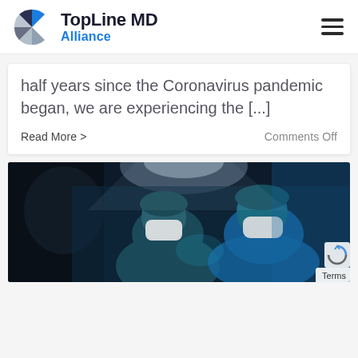TopLine MD Alliance
half years since the Coronavirus pandemic began, we are experiencing the [...]
Read More >
Comments Off
[Figure (photo): Two surgeons in scrubs and surgical masks working under bright operating room lights, photographed from below in a dark blue-toned environment]